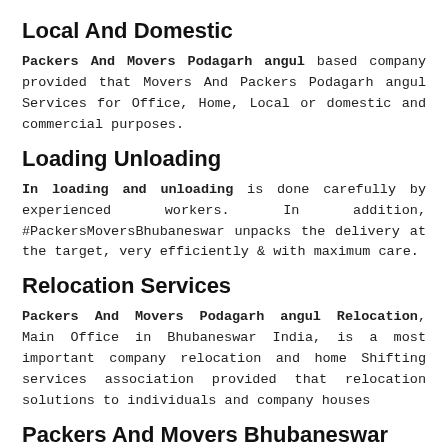Local And Domestic
Packers And Movers Podagarh angul based company provided that Movers And Packers Podagarh angul Services for Office, Home, Local or domestic and commercial purposes.
Loading Unloading
In loading and unloading is done carefully by experienced workers. In addition, #PackersMoversBhubaneswar unpacks the delivery at the target, very efficiently & with maximum care.
Relocation Services
Packers And Movers Podagarh angul Relocation, Main Office in Bhubaneswar India, is a most important company relocation and home Shifting services association provided that relocation solutions to individuals and company houses
Packers And Movers Bhubaneswar
Packers And Movers is recognized as a business manager providing wide ranging and differentiate service appearance as well as